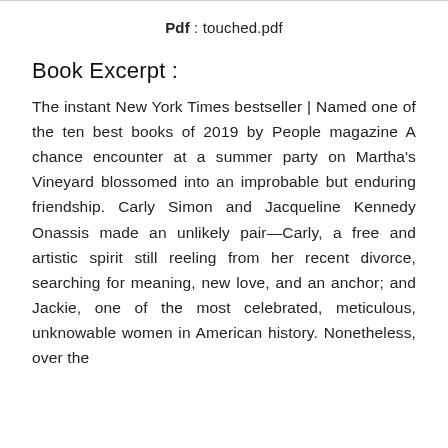Pdf : touched.pdf
Book Excerpt :
The instant New York Times bestseller | Named one of the ten best books of 2019 by People magazine A chance encounter at a summer party on Martha's Vineyard blossomed into an improbable but enduring friendship. Carly Simon and Jacqueline Kennedy Onassis made an unlikely pair—Carly, a free and artistic spirit still reeling from her recent divorce, searching for meaning, new love, and an anchor; and Jackie, one of the most celebrated, meticulous, unknowable women in American history. Nonetheless, over the